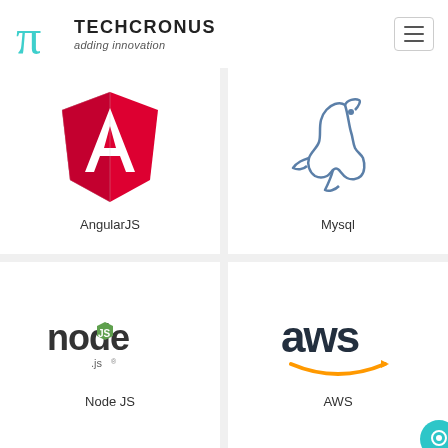TECHCRONUS adding innovation
[Figure (logo): AngularJS logo - red shield with white A]
AngularJS
[Figure (logo): MySQL logo - blue dolphin outline]
Mysql
[Figure (logo): Node.js logo - node with green hexagon]
Node JS
[Figure (logo): AWS logo - aws text with orange arrow]
AWS